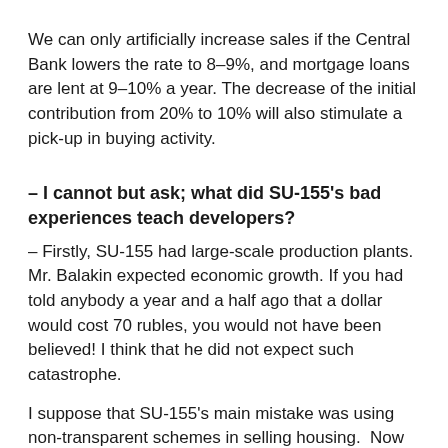We can only artificially increase sales if the Central Bank lowers the rate to 8–9%, and mortgage loans are lent at 9–10% a year. The decrease of the initial contribution from 20% to 10% will also stimulate a pick-up in buying activity.
– I cannot but ask; what did SU-155's bad experiences teach developers?
– Firstly, SU-155 had large-scale production plants. Mr. Balakin expected economic growth. If you had told anybody a year and a half ago that a dollar would cost 70 rubles, you would not have been believed! I think that he did not expect such catastrophe.
I suppose that SU-155's main mistake was using non-transparent schemes in selling housing. Now the state is discussing amendments to 214-FL, including a tightening of